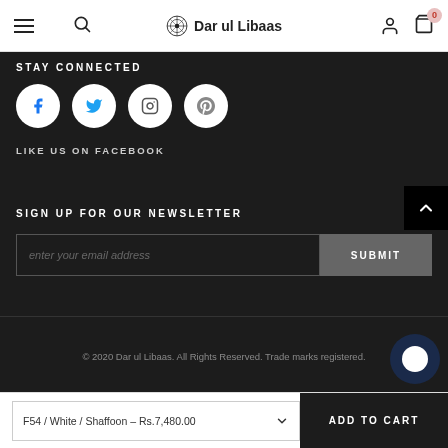Dar ul Libaas — navigation header with hamburger menu, search, user account, and cart (0 items)
STAY CONNECTED
[Figure (illustration): Four social media icon circles: Facebook (f), Twitter (bird), Instagram (camera), Pinterest (p)]
LIKE US ON FACEBOOK
SIGN UP FOR OUR NEWSLETTER
enter your email address — SUBMIT button
© 2020 Dar ul Libaas. All Rights Reserved. Trade marks registered.
F54 / White / Shaffoon – Rs.7,480.00  ADD TO CART